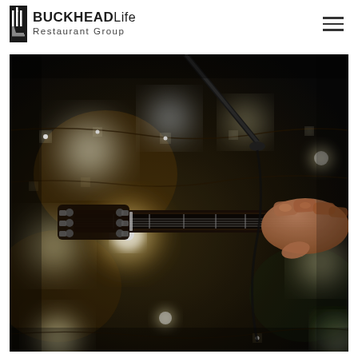Buckhead Life Restaurant Group
[Figure (photo): Close-up photo of a guitarist's hand gripping the neck of a guitar near the tuning pegs, with a microphone stand visible, set against a dark bokeh background with warm string lights out of focus.]